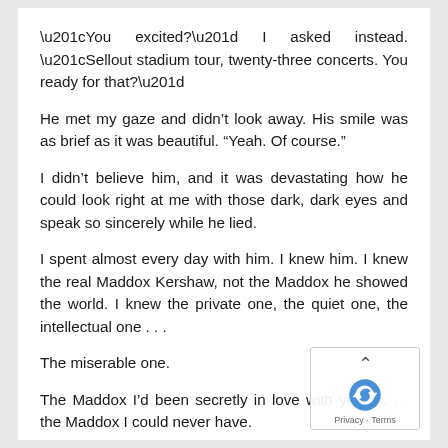“You excited?” I asked instead. “Sellout stadium tour, twenty-three concerts. You ready for that?”
He met my gaze and didn’t look away. His smile was as brief as it was beautiful. “Yeah. Of course.”
I didn’t believe him, and it was devastating how he could look right at me with those dark, dark eyes and speak so sincerely while he lied.
I spent almost every day with him. I knew him. I knew the real Maddox Kershaw, not the Maddox he showed the world. I knew the private one, the quiet one, the intellectual one . . .
The miserable one.
The Maddox I’d been secretly in love with years . . . the Maddox I could never have.